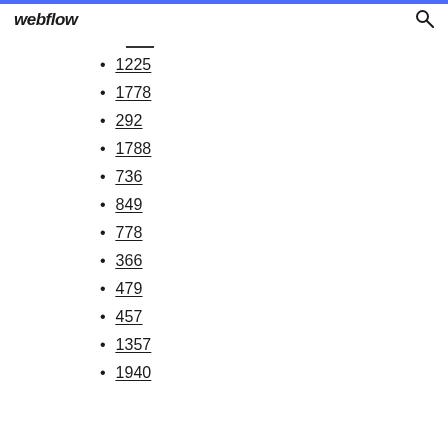webflow
1225
1778
292
1788
736
849
778
366
479
457
1357
1940